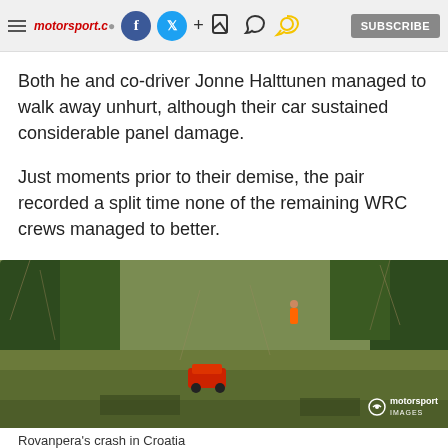motorsport.com [social icons] SUBSCRIBE
Both he and co-driver Jonne Halttunen managed to walk away unhurt, although their car sustained considerable panel damage.
Just moments prior to their demise, the pair recorded a split time none of the remaining WRC crews managed to better.
[Figure (photo): Aerial view of Rovanpera's rally car crashed in dense Croatian woodland/brush terrain. The car is visible among bare trees and green vegetation on a hillside. Motorsport Images watermark visible in bottom right.]
Rovanpera's crash in Croatia